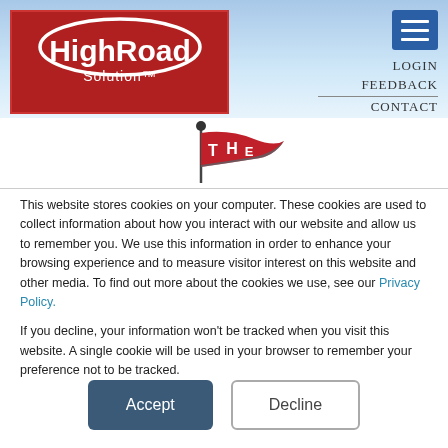[Figure (logo): HighRoad Solution logo — white text on red background with oval arc]
[Figure (illustration): Hamburger menu icon button (three white horizontal lines on blue square)]
LOGIN
FEEDBACK
CONTACT
[Figure (logo): Red flag on a pole with letters T H E on the flag]
This website stores cookies on your computer. These cookies are used to collect information about how you interact with our website and allow us to remember you. We use this information in order to enhance your browsing experience and to measure visitor interest on this website and other media. To find out more about the cookies we use, see our Privacy Policy.
If you decline, your information won't be tracked when you visit this website. A single cookie will be used in your browser to remember your preference not to be tracked.
Accept
Decline